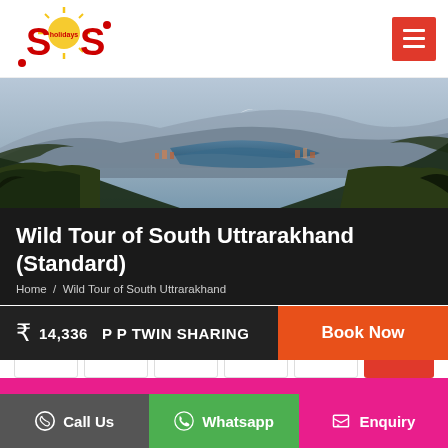SOS Holidays — navigation header with logo and hamburger menu
[Figure (photo): Aerial/landscape photo of a mountain town with a river/lake running through dense forested hills, misty mountains in background. Likely Nainital or similar Uttarakhand hill station.]
Wild Tour of South Uttrarakhand (Standard)
Home / Wild Tour of South Uttrarakhand
Inclusions
₹ 14,336  P P TWIN SHARING
Book Now
Call Us   Whatsapp   Enquiry